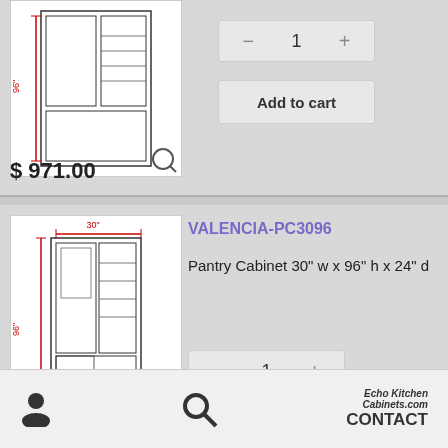[Figure (illustration): Line drawing of a tall pantry cabinet with red dimension lines, shown in a product listing card (top card, partially visible).]
$971.00
[Figure (other): Quantity selector showing minus button, value 1, plus button (top card).]
[Figure (other): Add to cart button (top card).]
VALENCIA-PC3096
Pantry Cabinet 30" w x 96" h x 24" d
[Figure (illustration): Line drawing of a tall pantry cabinet (30" wide, 96" tall) with red dimension lines indicating 30" width and 96" height.]
[Figure (other): Quantity selector showing minus button, value 1, plus button (bottom card).]
[Figure (other): Add to cart button (bottom card).]
User icon | Search icon | EchoKitchenCabinets.com CONTACT